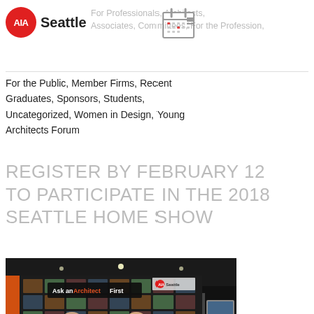AIA Seattle — For Professionals, Architects, Associates, Committees, For the Profession, For the Public, Member Firms, Recent Graduates, Sponsors, Students, Uncategorized, Women in Design, Young Architects Forum
For the Public, Member Firms, Recent Graduates, Sponsors, Students, Uncategorized, Women in Design, Young Architects Forum
REGISTER BY FEBRUARY 12 TO PARTICIPATE IN THE 2018 SEATTLE HOME SHOW
[Figure (photo): Photo of an AIA Seattle booth at the Seattle Home Show with a sign reading 'Ask an Architect First' and two men standing behind a table. The booth has a grid of architectural project photos on display boards.]